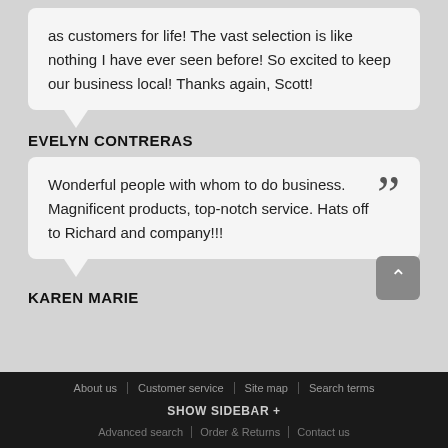as customers for life! The vast selection is like nothing I have ever seen before! So excited to keep our business local! Thanks again, Scott!
EVELYN CONTRERAS
Wonderful people with whom to do business. Magnificent products, top-notch service. Hats off to Richard and company!!!
KAREN MARIE
About us | Customer service | Site map | Search terms | Advanced search | Order & Returns | Contact us | SHOW SIDEBAR +